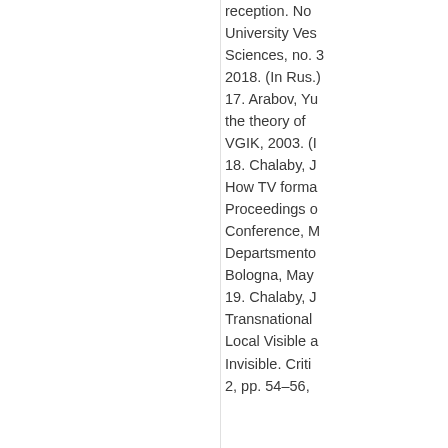reception. No... University Ves... Sciences, no. 3... 2018. (In Rus.) 17. Arabov, Yu... the theory of ... VGIK, 2003. (I... 18. Chalaby, J... How TV forma... Proceedings o... Conference, M... Departsmento... Bologna, May ... 19. Chalaby, J... Transnational ... Local Visible a... Invisible. Criti... 2, pp. 54–56, ...